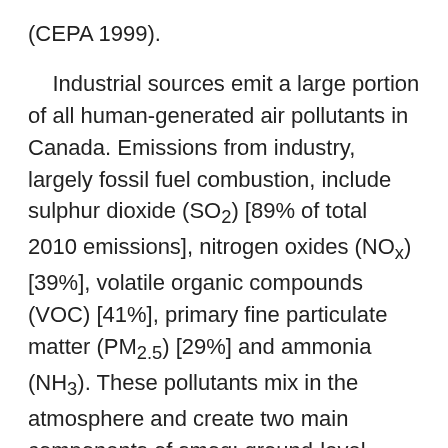(CEPA 1999). Industrial sources emit a large portion of all human-generated air pollutants in Canada. Emissions from industry, largely fossil fuel combustion, include sulphur dioxide (SO₂) [89% of total 2010 emissions], nitrogen oxides (NOₓ) [39%], volatile organic compounds (VOC) [41%], primary fine particulate matter (PM₂.₅) [29%] and ammonia (NH₃). These pollutants mix in the atmosphere and create two main components of smog: ground-level ozone, and secondary particulate matter.